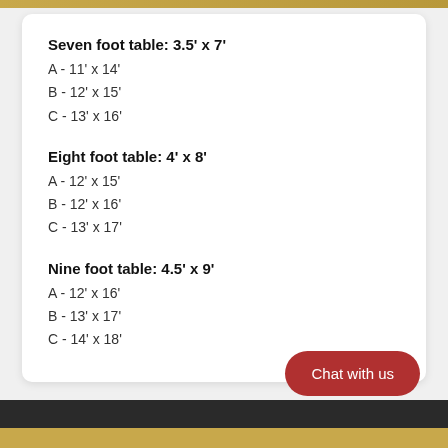Seven foot table: 3.5' x 7'
A - 11' x 14'
B - 12' x 15'
C - 13' x 16'
Eight foot table: 4' x 8'
A - 12' x 15'
B - 12' x 16'
C - 13' x 17'
Nine foot table: 4.5' x 9'
A - 12' x 16'
B - 13' x 17'
C - 14' x 18'